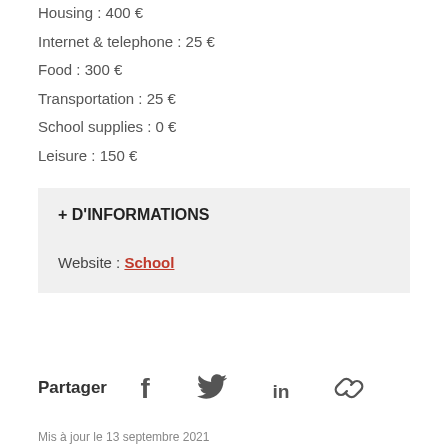Housing : 400 €
Internet & telephone : 25 €
Food : 300 €
Transportation : 25 €
School supplies : 0 €
Leisure : 150  €
+ D'INFORMATIONS
Website : School
Partager
Mis à jour le  13 septembre 2021